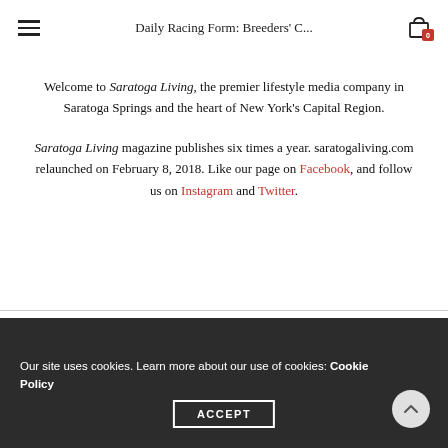Daily Racing Form: Breeders' C...
Welcome to Saratoga Living, the premier lifestyle media company in Saratoga Springs and the heart of New York's Capital Region.
Saratoga Living magazine publishes six times a year. saratogaliving.com relaunched on February 8, 2018. Like our page on Facebook, and follow us on Instagram and Twitter.
Our site uses cookies. Learn more about our use of cookies: Cookie Policy